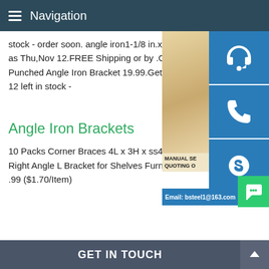Navigation
stock - order soon. angle iron1-1/8 in.x 24 Steel Punched Angle Iron Bracket (4-Pack as soon as Thu,Nov 12.FREE Shipping or by .Only 12 left in stock - angle iron1-1/8 in Gauge Steel Punched Angle Iron Bracket 19.99.Get it as soon as Thu,Nov 12.FREE order shipped by .Only 12 left in stock -
Angle Iron Brackets
10 Packs Corner Braces 4L x 3H x ss400 iron fence posts buy angle#190;W Thickness 3mm Iron Right Angle L Bracket for Shelves Furniture Wood Max.Load 33lb 4.9 out of 5 stars 17 $16.99 $ 16 .99 ($1.70/Item)
[Figure (photo): Customer service representative photo with contact icons (headset, phone, Skype) and email bsteel1@163.com]
GET IN TOUCH